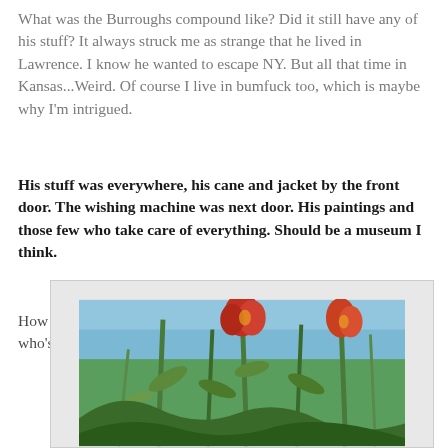What was the Burroughs compound like? Did it still have any of his stuff? It always struck me as strange that he lived in Lawrence. I know he wanted to escape NY. But all that time in Kansas...Weird. Of course I live in bumfuck too, which is maybe why I'm intrigued.
His stuff was everywhere, his cane and jacket by the front door. The wishing machine was next door. His paintings and those few who take care of everything. Should be a museum I think.
How would you describe Lawrence, Kansas, to someone like me who's never been there?
[Figure (photo): Low-angle photograph of wildflowers and tall green stems against a blue sky, with red and yellow blooms visible among the foliage.]